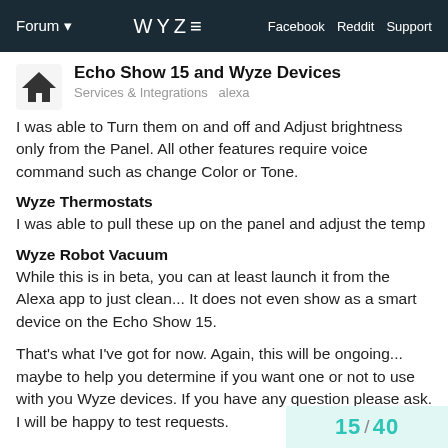Forum  WYZE  Facebook  Reddit  Support
Echo Show 15 and Wyze Devices
Services & Integrations  alexa
I was able to Turn them on and off and Adjust brightness only from the Panel. All other features require voice command such as change Color or Tone.
Wyze Thermostats
I was able to pull these up on the panel and adjust the temp
Wyze Robot Vacuum
While this is in beta, you can at least launch it from the Alexa app to just clean... It does not even show as a smart device on the Echo Show 15.
That's what I've got for now. Again, this will be ongoing... maybe to help you determine if you want one or not to use with you Wyze devices. If you have any question please ask. I will be happy to test requests.
15 / 40